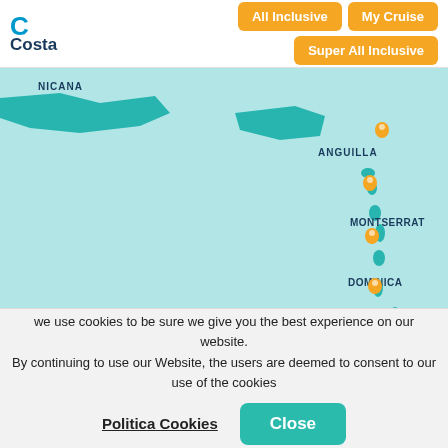Costa Cruises - All Inclusive | My Cruise | Super All Inclusive
[Figure (map): Caribbean map showing cruise destinations including Anguilla, Montserrat, Dominica, Barbados, Grenada, Curaçao with orange location pins on a teal/light blue background. Islands shown in teal. Labels visible: NICANA (partial - Dominicana), ANGUILLA, MONTSERRAT, DOMINICA, BARBADOS, GRENADA, CURAÇAO.]
we use cookies to be sure we give you the best experience on our website. By continuing to use our Website, the users are deemed to consent to our use of the cookies
Politica Cookies
Close